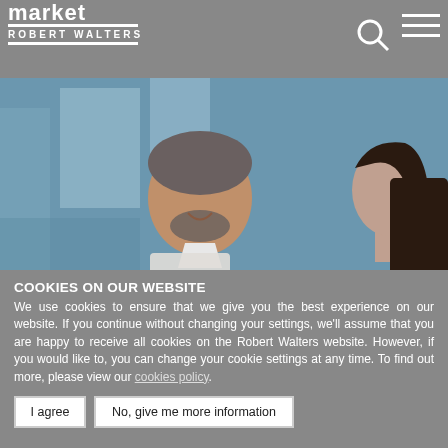market
ROBERT WALTERS
[Figure (photo): Two business professionals, a smiling man in a navy suit holding a tablet and a woman with dark hair in a dark blazer, in a modern office environment.]
COOKIES ON OUR WEBSITE
We use cookies to ensure that we give you the best experience on our website. If you continue without changing your settings, we'll assume that you are happy to receive all cookies on the Robert Walters website. However, if you would like to, you can change your cookie settings at any time. To find out more, please view our cookies policy.
I agree
No, give me more information